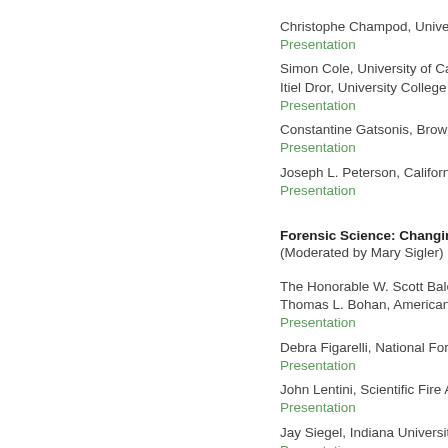Christophe Champod, University
Presentation
Simon Cole, University of Califor
Itiel Dror, University College Lon
Presentation
Constantine Gatsonis, Brown Un
Presentation
Joseph L. Peterson, California S
Presentation
Forensic Science: Changing fr
(Moderated by Mary Sigler)
The Honorable W. Scott Bales, A
Thomas L. Bohan, American Aca
Presentation
Debra Figarelli, National Forensi
Presentation
John Lentini, Scientific Fire Analy
Presentation
Jay Siegel, Indiana University-Pu
Presentation